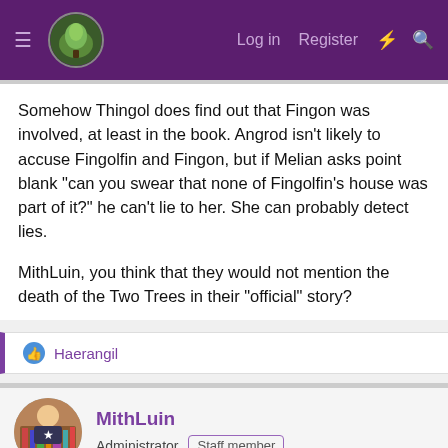≡ [logo] Log in  Register  ⚡ 🔍
Somehow Thingol does find out that Fingon was involved, at least in the book. Angrod isn't likely to accuse Fingolfin and Fingon, but if Melian asks point blank "can you swear that none of Fingolfin's house was part of it?" he can't lie to her. She can probably detect lies.

MithLuin, you think that they would not mention the death of the Two Trees in their "official" story?
👍 Haerangil
MithLuin
Administrator  Staff member
Dec 6, 2018  #91
Apparently, they are not mentioning the death of Finwë in their initial story....which suggests that there *is* no actual story about